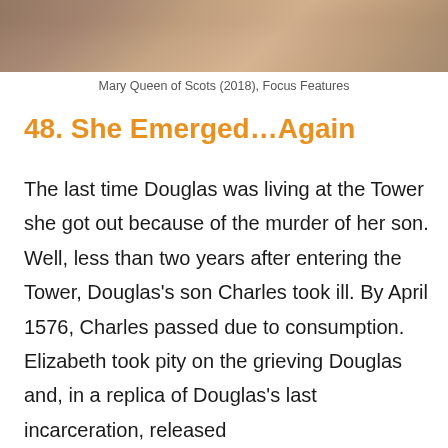[Figure (photo): Top portion of an image showing Mary Queen of Scots (2018), Focus Features — figures in period costume, partially cropped]
Mary Queen of Scots (2018), Focus Features
48. She Emerged…Again
The last time Douglas was living at the Tower she got out because of the murder of her son. Well, less than two years after entering the Tower, Douglas's son Charles took ill. By April 1576, Charles passed due to consumption. Elizabeth took pity on the grieving Douglas and, in a replica of Douglas's last incarceration, released